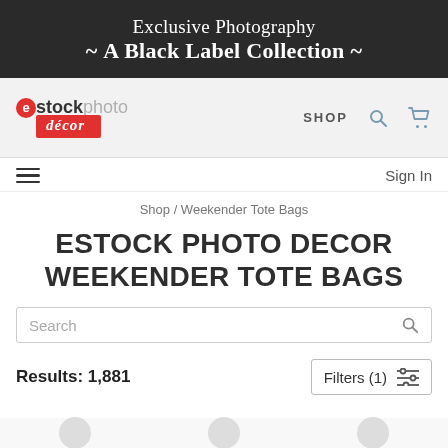Exclusive Photography ~ A Black Label Collection ~
[Figure (logo): estock photo decor logo with red circle e and red brush-stroke decor text]
SHOP
Sign In
Shop / Weekender Tote Bags
ESTOCK PHOTO DECOR WEEKENDER TOTE BAGS
Search
Results: 1,881
Filters (1)